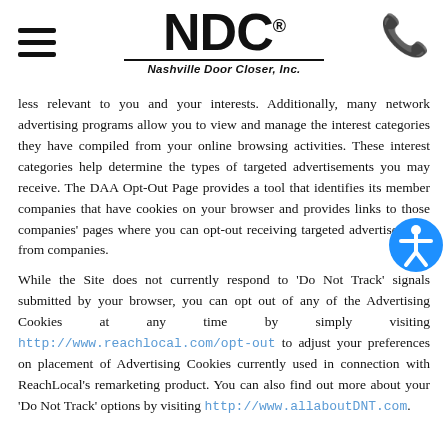NDC Nashville Door Closer, Inc.
less relevant to you and your interests. Additionally, many network advertising programs allow you to view and manage the interest categories they have compiled from your online browsing activities. These interest categories help determine the types of targeted advertisements you may receive. The DAA Opt-Out Page provides a tool that identifies its member companies that have cookies on your browser and provides links to those companies' pages where you can opt-out receiving targeted advertisements from companies.
While the Site does not currently respond to 'Do Not Track' signals submitted by your browser, you can opt out of any of the Advertising Cookies at any time by simply visiting http://www.reachlocal.com/opt-out to adjust your preferences on placement of Advertising Cookies currently used in connection with ReachLocal's remarketing product. You can also find out more about your 'Do Not Track' options by visiting http://www.allaboutDNT.com.